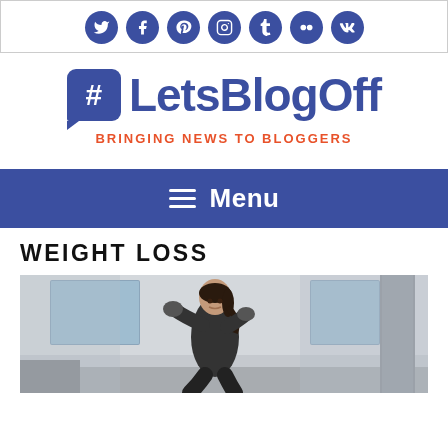Social media icons: Twitter, Facebook, Pinterest, Instagram, Tumblr, Flickr, VK
[Figure (logo): LetsBlogOff logo with hashtag icon in blue speech bubble and text 'LetsBlogOff' in bold blue]
BRINGING NEWS TO BLOGGERS
Menu
WEIGHT LOSS
[Figure (photo): Woman in dark athletic wear in boxing/fighting stance in a gym, blurred industrial background]